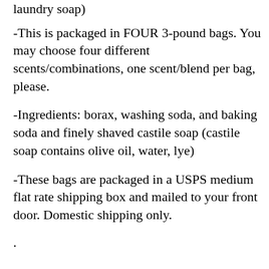laundry soap)
-This is packaged in FOUR 3-pound bags. You may choose four different scents/combinations, one scent/blend per bag, please.
-Ingredients: borax, washing soda, and baking soda and finely shaved castile soap (castile soap contains olive oil, water, lye)
-These bags are packaged in a USPS medium flat rate shipping box and mailed to your front door. Domestic shipping only.
.
________________________________________________
Directions for use:
<>Use 1 tablespoon (about 1/2 ounce) for a light load